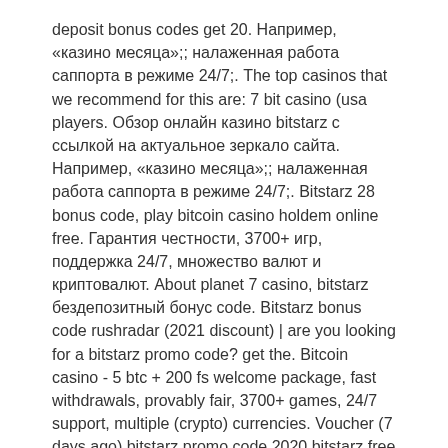deposit bonus codes get 20. Например, «казино месяца»;; налаженная работа саппорта в режиме 24/7;. The top casinos that we recommend for this are: 7 bit casino (usa players. Обзор онлайн казино bitstarz с ссылкой на актуальное зеркало сайта. Например, «казино месяца»;; налаженная работа саппорта в режиме 24/7;. Bitstarz 28 bonus code, play bitcoin casino holdem online free. Гарантия честности, 3700+ игр, поддержка 24/7, множество валют и криптовалют. About planet 7 casino, bitstarz бездепозитный бонус code. Bitstarz bonus code rushradar (2021 discount) | are you looking for a bitstarz promo code? get the. Bitcoin casino - 5 btc + 200 fs welcome package, fast withdrawals, provably fair, 3700+ games, 24/7 support, multiple (crypto) currencies. Voucher (7 days ago) bitstarz promo code 2020 bitstarz free bonus codes 2020 are For example crypto games offers 7